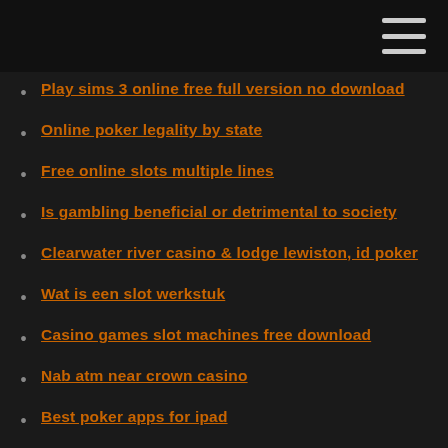Play sims 3 online free full version no download
Online poker legality by state
Free online slots multiple lines
Is gambling beneficial or detrimental to society
Clearwater river casino & lodge lewiston, id poker
Wat is een slot werkstuk
Casino games slot machines free download
Nab atm near crown casino
Best poker apps for ipad
How to beat the casino roulette table
How to glitch slot machine borderlands 2
Udbetaling fra danske spil casino
Guess the game casino bonus